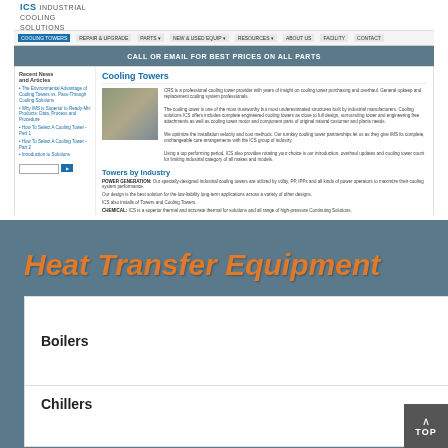[Figure (screenshot): Screenshot of ICS website showing Cooling Towers page with navigation, hero banner 'CALL OR EMAIL FOR BEST PRICES ON ALL PARTS', sidebar with Recent News and Articles, and main content showing Cooling Towers article with Towers by Industry and Towers by Type sections]
Heat Transfer Equipment
Boilers
Chillers
[Figure (other): TOP navigation button in bottom right corner with upward chevron arrow]